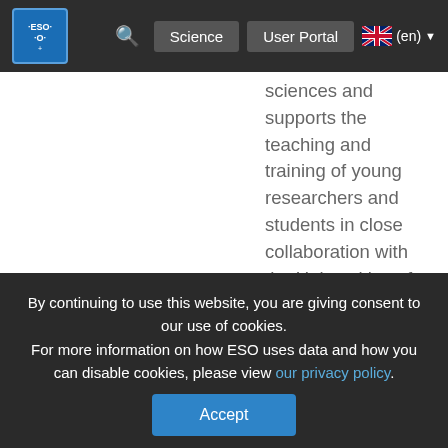ESO | Science | User Portal | (en)
sciences and supports the teaching and training of young researchers and students in close collaboration with the Universities of Lisbon and Porto.

IA promotes wide-ranging science communication activities that enhance public understanding of the Universe and our place in it, as well as awareness of the importance of research in this field. With its activities in schools and public
By continuing to use this website, you are giving consent to our use of cookies.
For more information on how ESO uses data and how you can disable cookies, please view our privacy policy.
Accept